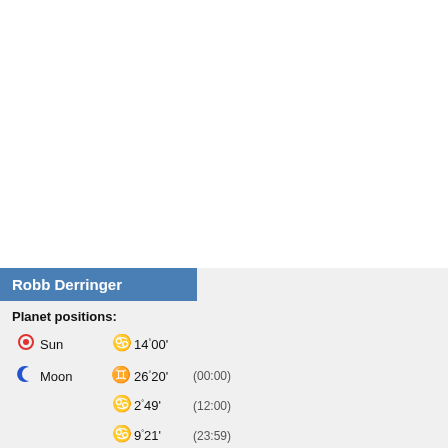Robb Derringer
Planet positions:
Sun  Cancer 14°00'
Moon  Gemini 26°20' (00:00); Cancer 2°49' (12:00); Cancer 9°21' (23:59)
Mercury  Cancer 18°17' R